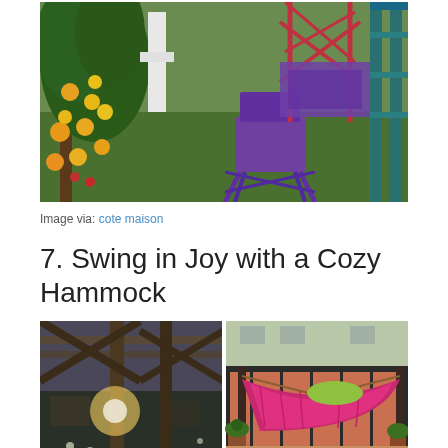[Figure (photo): Garden scene with orange/lemon citrus tree on left with fruit, green lawn in center, purple folding chair in middle, metal climbing frame/scaffolding structure in background, railing on right side]
Image via: cote maison
7. Swing in Joy with a Cozy Hammock
[Figure (photo): Two side-by-side photos: left shows wooden pergola/frame structure at dusk with light flare; right shows bright pink/fuchsia hammock on a balcony with green cushion and potted plants]